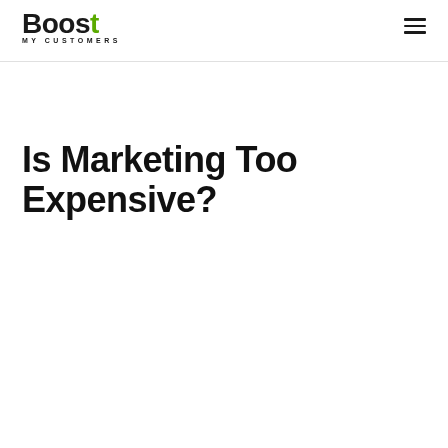Boost My Customers
Is Marketing Too Expensive?